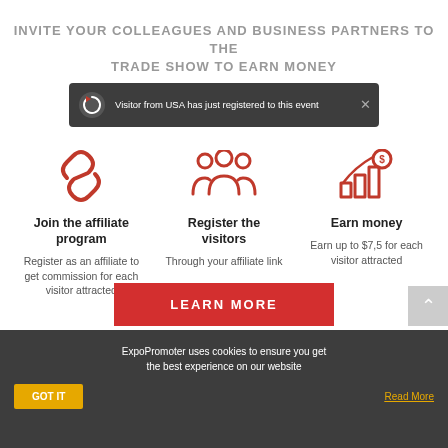INVITE YOUR COLLEAGUES AND BUSINESS PARTNERS TO THE TRADE SHOW TO EARN MONEY
Visitor from USA has just registered to this event
[Figure (illustration): Red chain link icon]
Join the affiliate program
Register as an affiliate to get commission for each visitor attracted
[Figure (illustration): Red group of people/visitors icon]
Register the visitors
Through your affiliate link
[Figure (illustration): Red bar chart with dollar coin icon]
Earn money
Earn up to $7,5 for each visitor attracted
LEARN MORE
ExpoPromoter uses cookies to ensure you get the best experience on our website
GOT IT
Read More